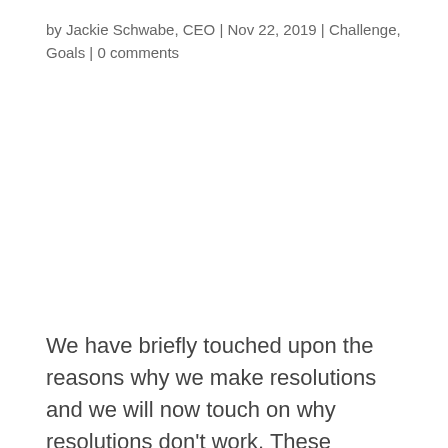by Jackie Schwabe, CEO | Nov 22, 2019 | Challenge, Goals | 0 comments
We have briefly touched upon the reasons why we make resolutions and we will now touch on why resolutions don't work. These promises to ourselves can be powerful motivators in helping us to